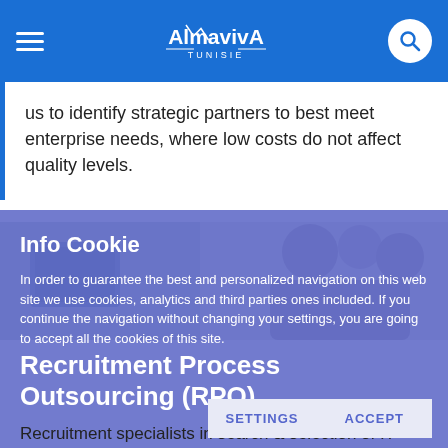AlmavivA Tunisie
us to identify strategic partners to best meet enterprise needs, where low costs do not affect quality levels.
Info Cookie
In order to guarantee the best and personalized navigation on this web site we use cookies, analytics and third parties ones included. If you continue the navigation without changing your settings, you are going to accept all the cookies of this site.
Recruitment Process Outsourcing (RPO)
Recruitment specialists in search & selection of IT professionals